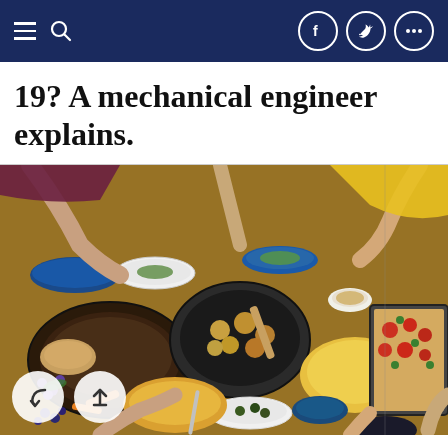Navigation bar with menu, search, facebook, twitter, and more icons
19? A mechanical engineer explains.
[Figure (photo): Overhead view of a large group dining table filled with many dishes of food including vegetables, cooked potatoes, pizza, rice dishes, salads, and people reaching for food around the table.]